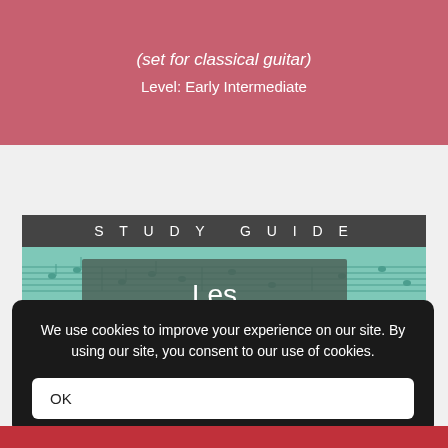(set for classical guitar)
Level: Early Intermediate
[Figure (illustration): Study Guide card for 'Les Marionnettes' by Bouchard/Gagnon, with dark header bar reading 'Study Guide', a teal background with sheet music texture, and a semi-transparent dark overlay with the title 'Les Marionnettes' and composer 'Bouchard/Gagnon']
We use cookies to improve your experience on our site. By using our site, you consent to our use of cookies.
OK